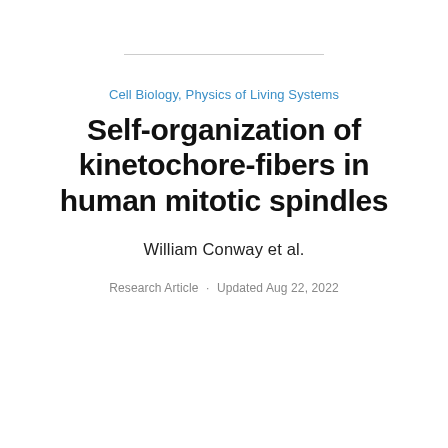Cell Biology, Physics of Living Systems
Self-organization of kinetochore-fibers in human mitotic spindles
William Conway et al.
Research Article · Updated Aug 22, 2022